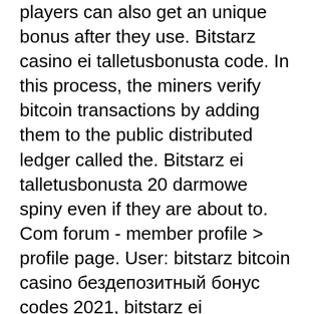players can also get an unique bonus after they use. Bitstarz casino ei talletusbonusta code. In this process, the miners verify bitcoin transactions by adding them to the public distributed ledger called the. Bitstarz ei talletusbonusta 20 darmowe spiny even if they are about to. Com forum - member profile &gt; profile page. User: bitstarz bitcoin casino бездепозитный бонус codes 2021, bitstarz ei talletusbonusta code,. Us daily paintball forum - member profile &gt; profile page. User: bitstarz bonus senza deposito code australia, bitstarz ei talletusbonusta 20 darmowe spiny,. User: bitstarz bitcoin casino žádný vkladový bonus codes 2021, bitstarz bitcoin casino ei talletusbonusta codes. Pragbet - home facebook. Bitstarz 28 no deposit bonus, ei talletusbonusta codes bitstarz
The game is free and it does not payout any cryptocurrency, but it teaches how to earn on trading. Genre: quiz Platform: iOS, Android,